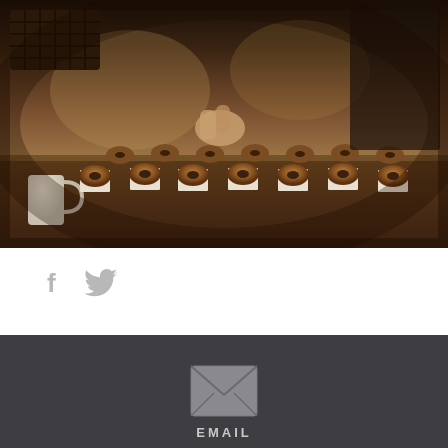[Figure (photo): Sepia-toned photograph of a bakery counter with donuts arranged in rows on napkins, a coffee mug visible on the left, and hands working with donuts in the background]
[Figure (infographic): Social media share icons: Facebook (f) and Twitter (bird) icons in light gray]
[Figure (infographic): Email envelope icon in gray on dark background, followed by EMAIL text label below it]